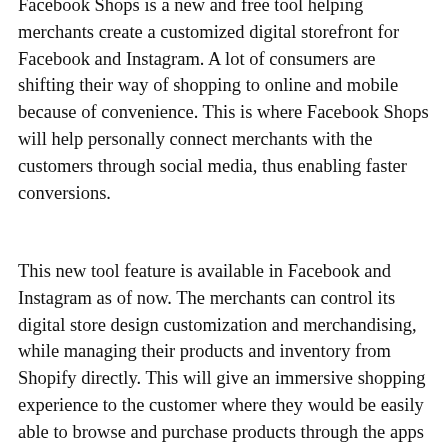Facebook Shops is a new and free tool helping merchants create a customized digital storefront for Facebook and Instagram. A lot of consumers are shifting their way of shopping to online and mobile because of convenience. This is where Facebook Shops will help personally connect merchants with the customers through social media, thus enabling faster conversions.
This new tool feature is available in Facebook and Instagram as of now. The merchants can control its digital store design customization and merchandising, while managing their products and inventory from Shopify directly. This will give an immersive shopping experience to the customer where they would be easily able to browse and purchase products through the apps